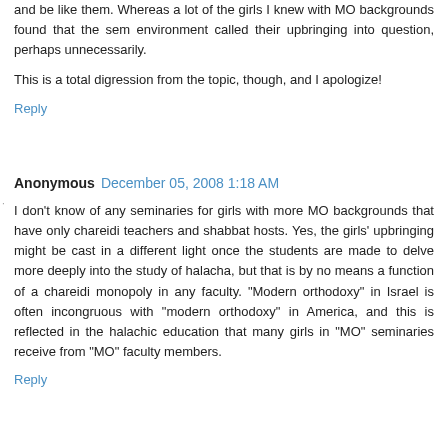and be like them. Whereas a lot of the girls I knew with MO backgrounds found that the sem environment called their upbringing into question, perhaps unnecessarily.
This is a total digression from the topic, though, and I apologize!
Reply
Anonymous  December 05, 2008 1:18 AM
I don't know of any seminaries for girls with more MO backgrounds that have only chareidi teachers and shabbat hosts. Yes, the girls' upbringing might be cast in a different light once the students are made to delve more deeply into the study of halacha, but that is by no means a function of a chareidi monopoly in any faculty. "Modern orthodoxy" in Israel is often incongruous with "modern orthodoxy" in America, and this is reflected in the halachic education that many girls in "MO" seminaries receive from "MO" faculty members.
Reply